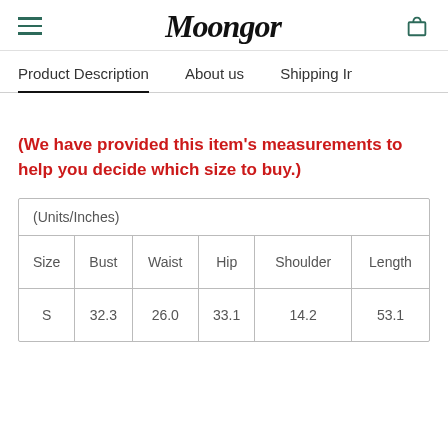Moongor
Product Description | About us | Shipping Info
(We have provided this item's measurements to help you decide which size to buy.)
| (Units/Inches) |  |  |  |  |  |
| --- | --- | --- | --- | --- | --- |
| Size | Bust | Waist | Hip | Shoulder | Length |
| S | 32.3 | 26.0 | 33.1 | 14.2 | 53.1 |